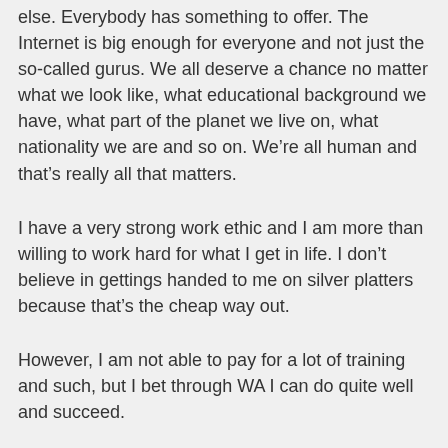else. Everybody has something to offer. The Internet is big enough for everyone and not just the so-called gurus. We all deserve a chance no matter what we look like, what educational background we have, what part of the planet we live on, what nationality we are and so on. We're all human and that's really all that matters.
I have a very strong work ethic and I am more than willing to work hard for what I get in life. I don't believe in gettings handed to me on silver platters because that's the cheap way out.
However, I am not able to pay for a lot of training and such, but I bet through WA I can do quite well and succeed.